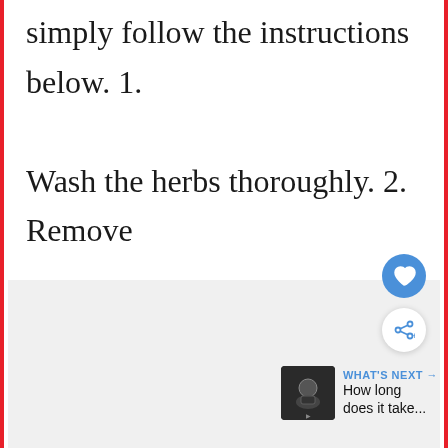simply follow the instructions below. 1. Wash the herbs thoroughly. 2. Remove any stems or leaves that are tough or woody.
[Figure (screenshot): UI buttons: heart/like button (blue circle with heart icon) and share button (white circle with share icon), plus a 'WHAT'S NEXT' card showing a thumbnail image and text 'How long does it take...']